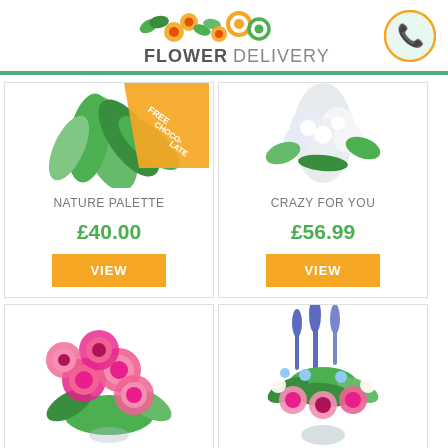FLOWER DELIVERY
[Figure (photo): Nature Palette flower bouquet with tropical green leaves and orange/yellow tones, with a FREE CHOCOLATES ribbon banner]
NATURE PALETTE
£40.00
VIEW
[Figure (photo): Crazy For You flower bouquet with white/lavender flowers and greenery]
CRAZY FOR YOU
£56.99
VIEW
[Figure (photo): Pink roses bouquet, lush pink roses with green leaves]
[Figure (photo): Mixed flower arrangement with purple, pink, and green flowers and foliage]